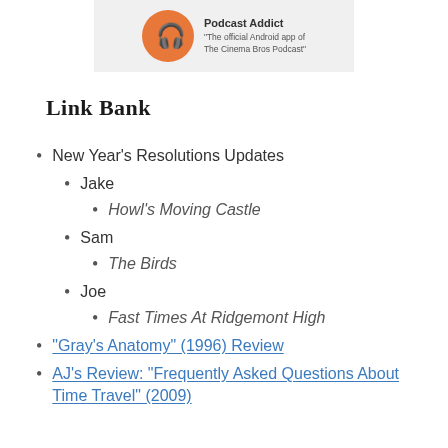[Figure (illustration): Podcast Addict app banner with orange circle logo and text 'Podcast Addict - The official Android app of The Cinema Bros Podcast']
Link Bank
New Year's Resolutions Updates
Jake
Howl's Moving Castle
Sam
The Birds
Joe
Fast Times At Ridgemont High
“Gray’s Anatomy” (1996) Review
AJ’s Review: “Frequently Asked Questions About Time Travel” (2009)